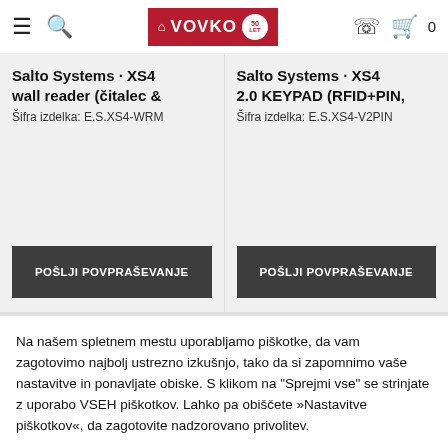VOVKO header navigation with logo, search, phone and cart icons
Salto Systems XS4 wall reader (čitalec & ...)
Šifra izdelka: E.S.XS4-WRM
Salto Systems XS4 2.0 KEYPAD (RFID+PIN, ...)
Šifra izdelka: E.S.XS4-V2PIN
POŠLJI POVPRAŠEVANJE
POŠLJI POVPRAŠEVANJE
Na našem spletnem mestu uporabljamo piškotke, da vam zagotovimo najbolj ustrezno izkušnjo, tako da si zapomnimo vaše nastavitve in ponavljate obiske. S klikom na "Sprejmi vse" se strinjate z uporabo VSEH piškotkov. Lahko pa obiščete »Nastavitve piškotkov«, da zagotovite nadzorovano privolitev.
Nastavitve
Sprejmi vse